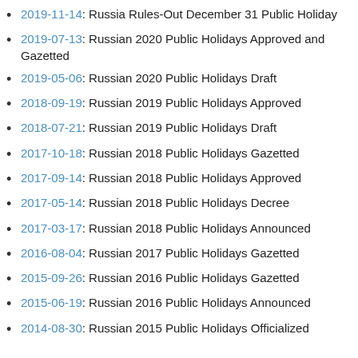2019-11-14: Russia Rules-Out December 31 Public Holiday
2019-07-13: Russian 2020 Public Holidays Approved and Gazetted
2019-05-06: Russian 2020 Public Holidays Draft
2018-09-19: Russian 2019 Public Holidays Approved
2018-07-21: Russian 2019 Public Holidays Draft
2017-10-18: Russian 2018 Public Holidays Gazetted
2017-09-14: Russian 2018 Public Holidays Approved
2017-05-14: Russian 2018 Public Holidays Decree
2017-03-17: Russian 2018 Public Holidays Announced
2016-08-04: Russian 2017 Public Holidays Gazetted
2015-09-26: Russian 2016 Public Holidays Gazetted
2015-06-19: Russian 2016 Public Holidays Announced
2014-08-30: Russian 2015 Public Holidays Officialized